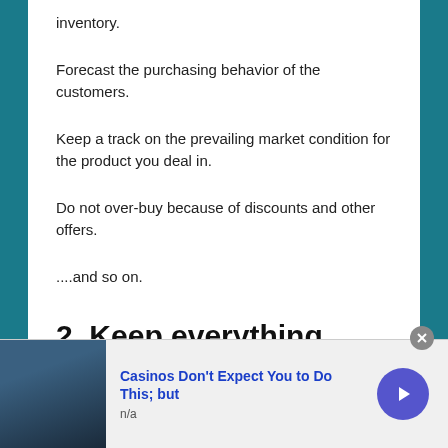inventory.
Forecast the purchasing behavior of the customers.
Keep a track on the prevailing market condition for the product you deal in.
Do not over-buy because of discounts and other offers.
....and so on.
2. Keep everything documented
It is a good practice to keep records of each and every action regarding stocks. This will helps you in future for
[Figure (screenshot): Advertisement bar at bottom: image of person on left, blue link text 'Casinos Don't Expect You to Do This; but', subtext 'n/a', arrow button on right, close X button]